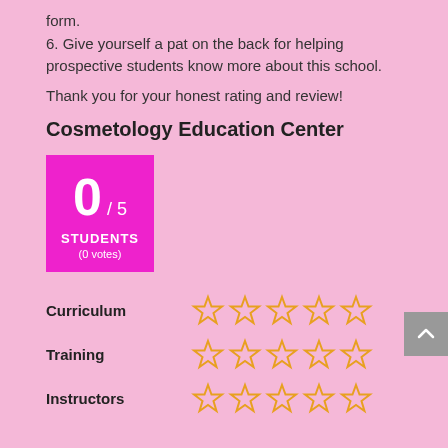form.
6. Give yourself a pat on the back for helping prospective students know more about this school.
Thank you for your honest rating and review!
Cosmetology Education Center
[Figure (infographic): Pink square rating box showing 0 / 5 score for STUDENTS category with (0 votes)]
Curriculum — 5 empty stars
Training — 5 empty stars
Instructors — 5 empty stars